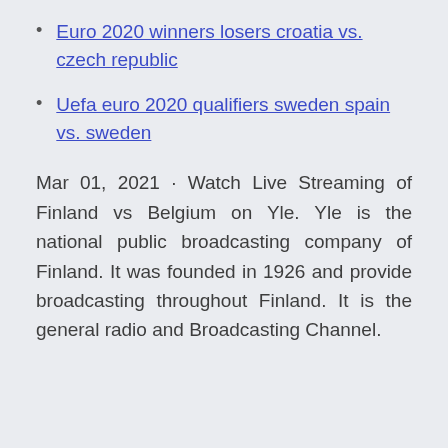Euro 2020 winners losers croatia vs. czech republic
Uefa euro 2020 qualifiers sweden spain vs. sweden
Mar 01, 2021 · Watch Live Streaming of Finland vs Belgium on Yle. Yle is the national public broadcasting company of Finland. It was founded in 1926 and provide broadcasting throughout Finland. It is the general radio and Broadcasting Channel.